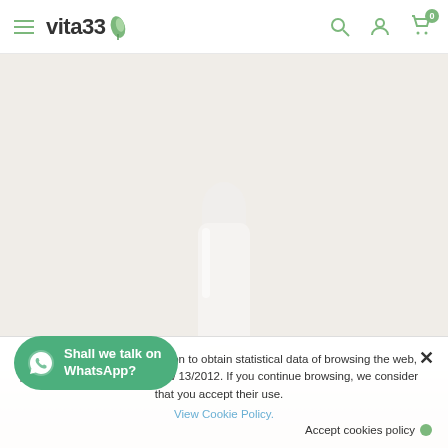[Figure (screenshot): Vita33 e-commerce website header with hamburger menu, vita33 logo with green leaf icon, and navigation icons (search, user, cart with 0 badge) on white navbar]
[Figure (photo): Product image of a white dropper/serum bottle on a light beige background, partially visible]
Vita33 requests your permission to obtain statistical data of browsing the web, pursuant to Royal Decree-Law 13/2012. If you continue browsing, we consider that you accept their use.
View Cookie Policy.
Accept cookies policy
Shall we talk on WhatsApp?